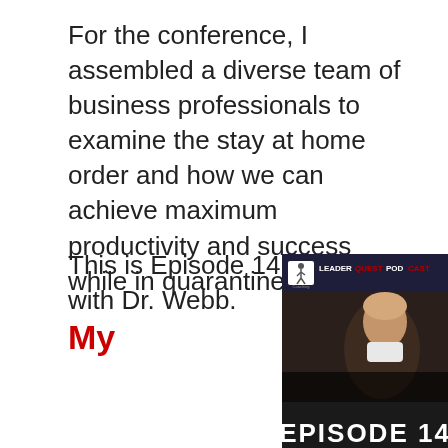For the conference, I assembled a diverse team of business professionals to examine the stay at home order and how we can achieve maximum productivity and success while in quarantine.
This is Episode 14 – Interview with Dr. Webb.
My
[Figure (other): LeaderQuest Podcast logo banner showing 'LEADERQUEST PODCAST' text with a running man icon, above an image of a man looking up with large text reading 'EPISODE 14' overlaid at the bottom.]